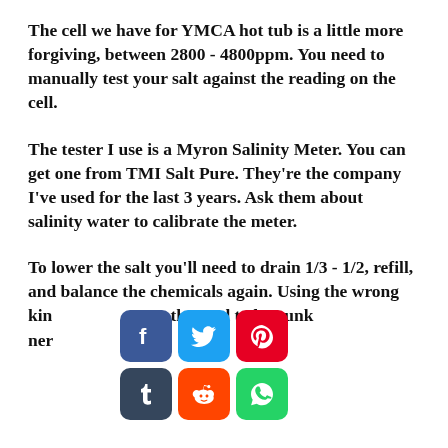The cell we have for YMCA hot tub is a little more forgiving, between 2800 - 4800ppm. You need to manually test your salt against the reading on the cell.
The tester I use is a Myron Salinity Meter. You can get one from TMI Salt Pure. They're the company I've used for the last 3 years. Ask them about salinity water to calibrate the meter.
To lower the salt you'll need to drain 1/3 - 1/2, refill, and balance the chemicals again. Using the wrong kin[d of salt can cause] the pool to be gunk[y and...] [mer...]
[Figure (infographic): Social media share icons: Facebook (blue), Twitter (blue), Pinterest (red), Tumblr (dark), Reddit (orange), WhatsApp (green)]